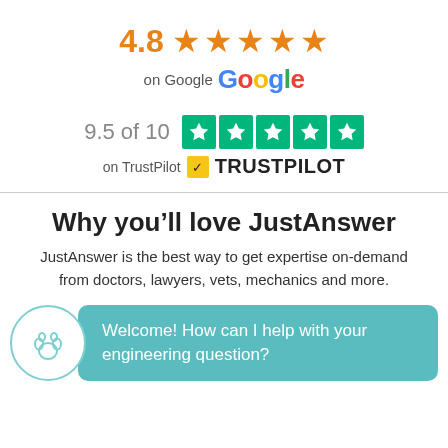[Figure (infographic): Rating of 4.8 with 5 orange stars on Google]
[Figure (infographic): Rating of 9.5 of 10 with 5 green TrustPilot stars, labeled on TrustPilot]
Why you’ll love JustAnswer
JustAnswer is the best way to get expertise on-demand from doctors, lawyers, vets, mechanics and more.
Welcome! How can I help with your engineering question?